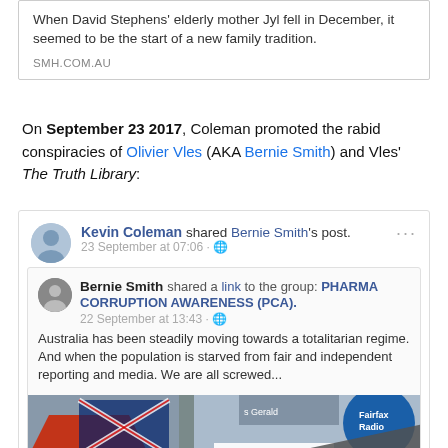[Figure (screenshot): A shared link box from SMH.com.au with text: 'When David Stephens' elderly mother Jyl fell in December, it seemed to be the start of a new family tradition.' Source: SMH.COM.AU]
On September 23 2017, Coleman promoted the rabid conspiracies of Olivier Vles (AKA Bernie Smith) and Vles' The Truth Library:
[Figure (screenshot): Facebook screenshot showing Kevin Coleman shared Bernie Smith's post on 23 September at 07:06. Bernie Smith shared a link to the group PHARMA CORRUPTION AWARENESS (PCA) on 22 September at 13:43. Post text: 'Australia has been steadily moving towards a totalitarian regime. And when the population is starved from fair and independent reporting and media. We are all screwed...' Below is an image of newspaper/media logos with a diagonal banner reading 'NO FREE AND INDEPENDENT MEDIA ALLOWED IN AUSTRALIA' in red on grey.]